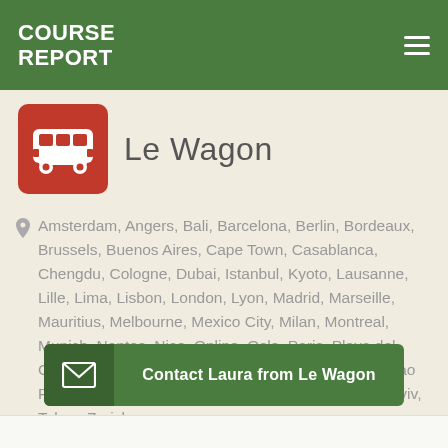COURSE REPORT
Le Wagon
Amsterdam, Angers, Bali, Barcelona, Berlin, Bordeaux, Brussels, Buenos Aires, Cape Town, Casablanca, Chengdu, Cologne, Dubai, Istanbul, Kyoto, Lausanne, Lille, Lima, Lisbon, London, Lyon, Madrid, Marseille, Mauritius, Melbourne, Mexico City, Milan, Montreal, Munich, Nantes, Nice, Online, Oslo, Paris, Playa del Carmen, Porto, Rennes, Rio de Janeiro, Santiago, Sao Paulo, Seoul, Shanghai, Shenzhen, Singapore, Tel Aviv, Tokyo, Zurich
Contact Laura from Le Wagon